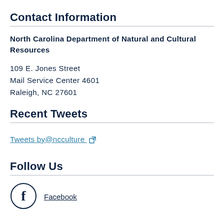Contact Information
North Carolina Department of Natural and Cultural Resources
109 E. Jones Street
Mail Service Center 4601
Raleigh, NC 27601
Recent Tweets
Tweets by@ncculture
Follow Us
[Figure (logo): Facebook logo circle icon with letter f]
Facebook